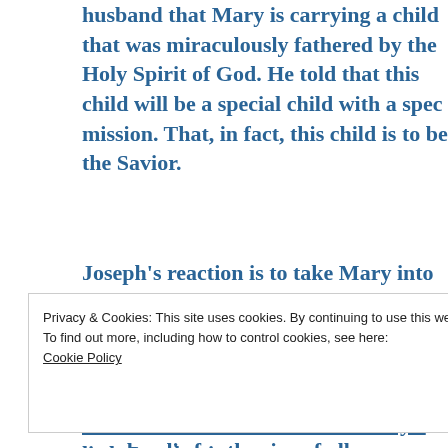husband that Mary is carrying a child that was miraculously fathered by the Holy Spirit of God. He told that this child will be a special child with a special mission. That, in fact, this child is to be the Savior.
Joseph's reaction is to take Mary into his home and wait with her until the day the baby is born. What the didn't realize is that this baby Who was growing in Mary's body was none other than the Lamb of God who would one day die for the sins of all men. Verse 25 tells us that Mary eventually delivered this child. When she...
Privacy & Cookies: This site uses cookies. By continuing to use this website, you agree to their use. To find out more, including how to control cookies, see here: Cookie Policy
Close and accept
share three characteristics of Mary's little Lamb wi...